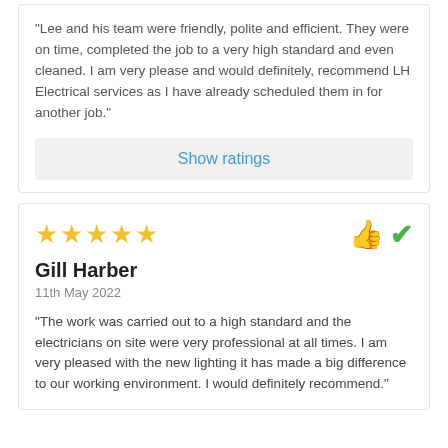"Lee and his team were friendly, polite and efficient. They were on time, completed the job to a very high standard and even cleaned. I am very please and would definitely, recommend LH Electrical services as I have already scheduled them in for another job."
Show ratings
[Figure (other): Five gold stars rating]
[Figure (other): Green thumbs up icon and green checkmark icon]
Gill Harber
11th May 2022
"The work was carried out to a high standard and the electricians on site were very professional at all times. I am very pleased with the new lighting it has made a big difference to our working environment. I would definitely recommend."